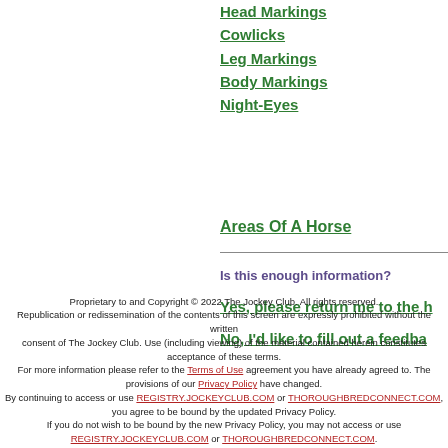Head Markings
Cowlicks
Leg Markings
Body Markings
Night-Eyes
Areas Of A Horse
Is this enough information?
Yes, please return me to the h...
No, I'd like to fill out a feedba...
Proprietary to and Copyright © 2022 The Jockey Club. All rights reserved. Republication or redissemination of the contents of this screen are expressly prohibited without the written consent of The Jockey Club. Use (including viewing) of the material contained herein constitutes acceptance of these terms. For more information please refer to the Terms of Use agreement you have already agreed to. The provisions of our Privacy Policy have changed. By continuing to access or use REGISTRY.JOCKEYCLUB.COM or THOROUGHBREDCONNECT.COM, you agree to be bound by the updated Privacy Policy. If you do not wish to be bound by the new Privacy Policy, you may not access or use REGISTRY.JOCKEYCLUB.COM or THOROUGHBREDCONNECT.COM.